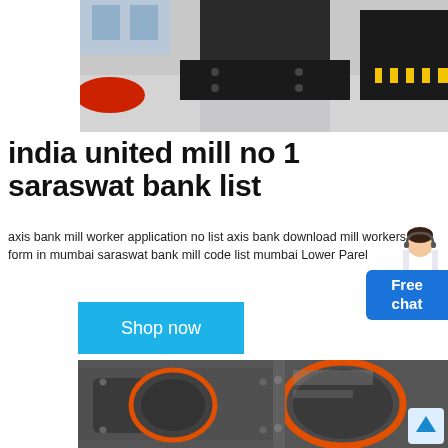[Figure (photo): Industrial machinery/mill equipment in a factory setting, gray floor, large black metal structures]
india united mill no 1 saraswat bank list
axis bank mill worker application no list axis bank download mill workers form in mumbai saraswat bank mill code list mumbai Lower Parel
[Figure (illustration): Customer service avatar illustration - woman with headset]
Free chat
Shop now
[Figure (photo): Close-up of industrial mill roller/drum machinery with orange and gray components]